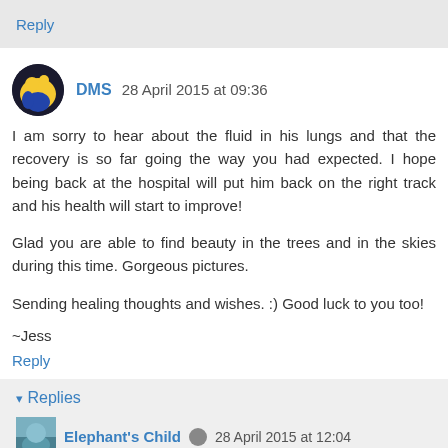Reply
DMS 28 April 2015 at 09:36
I am sorry to hear about the fluid in his lungs and that the recovery is so far going the way you had expected. I hope being back at the hospital will put him back on the right track and his health will start to improve!

Glad you are able to find beauty in the trees and in the skies during this time. Gorgeous pictures.

Sending healing thoughts and wishes. :) Good luck to you too!
~Jess
Reply
Replies
Elephant's Child 28 April 2015 at 12:04